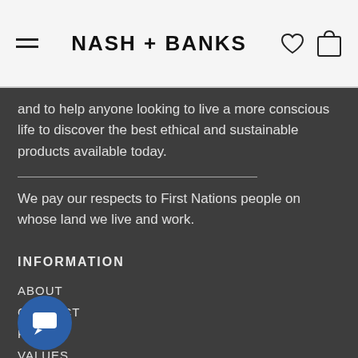NASH + BANKS
and to help anyone looking to live a more conscious life to discover the best ethical and sustainable products available today.
We pay our respects to First Nations people on whose land we live and work.
INFORMATION
ABOUT
CONTACT
FAQs
VALUES
WHOLESALE
SEARCH